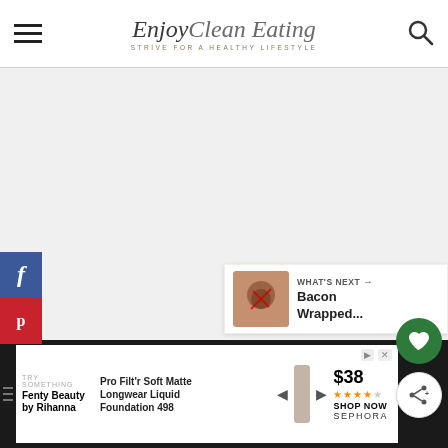EnjoyClean Eating — Strive for a Healthy Lifestyle
[Figure (screenshot): Gray placeholder / advertisement content area in main body of webpage]
[Figure (screenshot): Facebook share button (blue) and Pinterest save button (red) on left sidebar]
[Figure (screenshot): Green heart (favorite) button and white share button on right side]
[Figure (screenshot): What's Next promo card: thumbnail image of Bacon Wrapped item]
[Figure (screenshot): Advertisement banner: Fenty Beauty by Rihanna — Pro Filt'r Soft Matte Longwear Liquid Foundation 498, $38, Sephora]